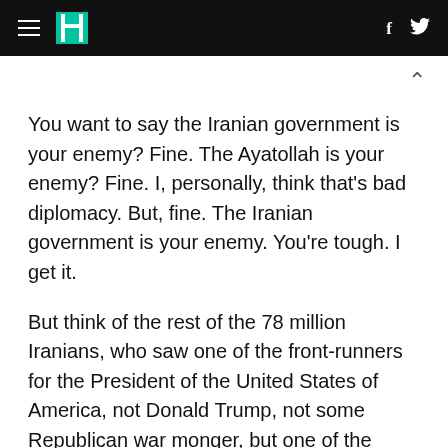HuffPost navigation header with hamburger menu, logo, Facebook and Twitter icons
You want to say the Iranian government is your enemy? Fine. The Ayatollah is your enemy? Fine. I, personally, think that's bad diplomacy. But, fine. The Iranian government is your enemy. You're tough. I get it.
But think of the rest of the 78 million Iranians, who saw one of the front-runners for the President of the United States of America, not Donald Trump, not some Republican war monger, but one of the Democratic party front-runners just call them, ALL of them enemies. Her